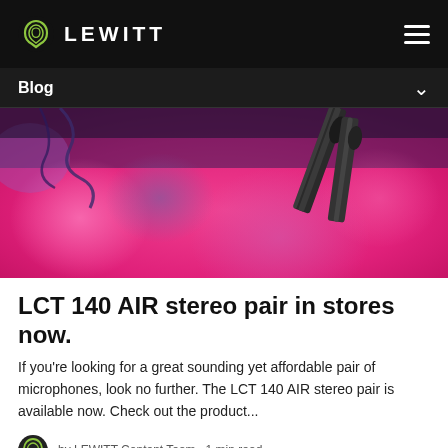LEWITT
Blog
[Figure (photo): Two pencil condenser microphones (LCT 140 AIR) against a pink/magenta blurred background with bokeh lighting]
LCT 140 AIR stereo pair in stores now.
If you're looking for a great sounding yet affordable pair of microphones, look no further. The LCT 140 AIR stereo pair is available now. Check out the product...
by LEWITT Content Team · 1 min read